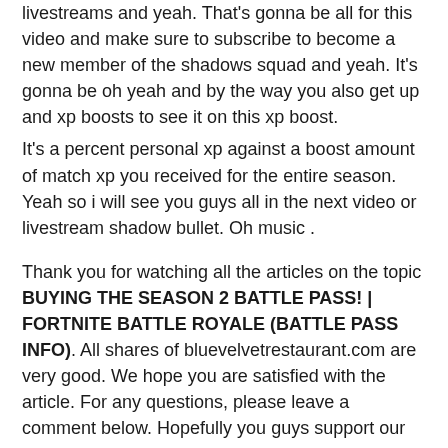livestreams and yeah. That's gonna be all for this video and make sure to subscribe to become a new member of the shadows squad and yeah. It's gonna be oh yeah and by the way you also get up and xp boosts to see it on this xp boost.
It's a percent personal xp against a boost amount of match xp you received for the entire season. Yeah so i will see you guys all in the next video or livestream shadow bullet. Oh music .
Thank you for watching all the articles on the topic BUYING THE SEASON 2 BATTLE PASS! | FORTNITE BATTLE ROYALE (BATTLE PASS INFO). All shares of bluevelvetrestaurant.com are very good. We hope you are satisfied with the article. For any questions, please leave a comment below. Hopefully you guys support our website even more.